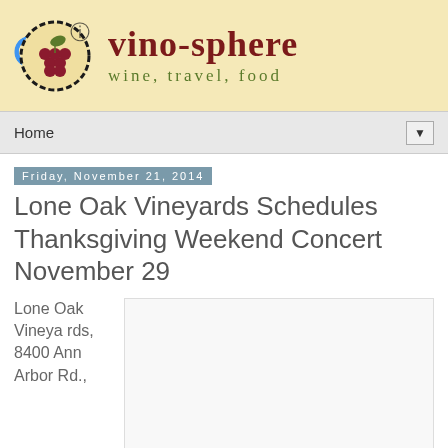[Figure (logo): Vino-sphere website header banner with circular grape logo, decorative scrollwork, site name 'vino-sphere' in dark red serif font, and tagline 'wine, travel, food' in olive green serif font on a pale yellow background]
Home
Friday, November 21, 2014
Lone Oak Vineyards Schedules Thanksgiving Weekend Concert November 29
Lone Oak Vineyards, 8400 Ann Arbor Rd.,